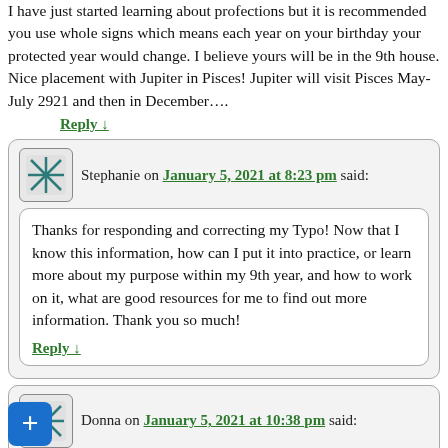I have just started learning about profections but it is recommended you use whole signs which means each year on your birthday your protected year would change. I believe yours will be in the 9th house. Nice placement with Jupiter in Pisces! Jupiter will visit Pisces May- July 2921 and then in December….
Reply ↓
Stephanie on January 5, 2021 at 8:23 pm said:
Thanks for responding and correcting my Typo! Now that I know this information, how can I put it into practice, or learn more about my purpose within my 9th year, and how to work on it, what are good resources for me to find out more information. Thank you so much!
Reply ↓
Donna on January 5, 2021 at 10:38 pm said:
Hi Stephanie-
If you google profection wheel there are several you can download. Ninth house issues are front and center. Look at where Jupiter is in your natal chart.